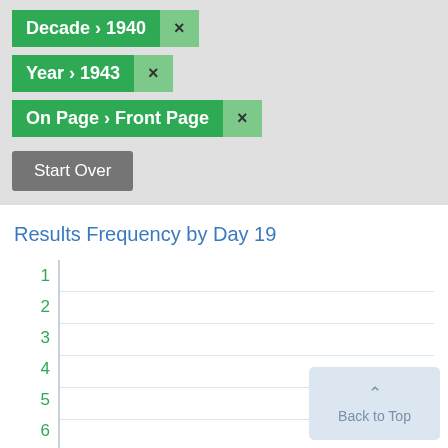Decade › 1940 ×
Year › 1943 ×
On Page › Front Page ×
Start Over
Results Frequency by Day 19
[Figure (bar-chart): Results Frequency by Day 19]
Back to Top